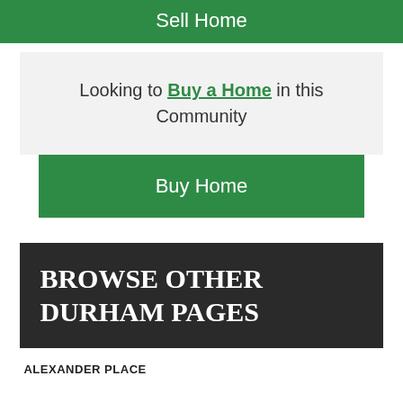Sell Home
Looking to Buy a Home in this Community
Buy Home
BROWSE OTHER DURHAM PAGES
ALEXANDER PLACE